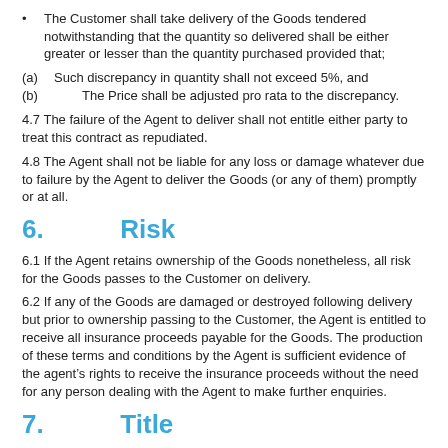The Customer shall take delivery of the Goods tendered notwithstanding that the quantity so delivered shall be either greater or lesser than the quantity purchased provided that;
(a) Such discrepancy in quantity shall not exceed 5%, and
(b) The Price shall be adjusted pro rata to the discrepancy.
4.7 The failure of the Agent to deliver shall not entitle either party to treat this contract as repudiated.
4.8 The Agent shall not be liable for any loss or damage whatever due to failure by the Agent to deliver the Goods (or any of them) promptly or at all.
6.   Risk
6.1 If the Agent retains ownership of the Goods nonetheless, all risk for the Goods passes to the Customer on delivery.
6.2 If any of the Goods are damaged or destroyed following delivery but prior to ownership passing to the Customer, the Agent is entitled to receive all insurance proceeds payable for the Goods. The production of these terms and conditions by the Agent is sufficient evidence of the agent’s rights to receive the insurance proceeds without the need for any person dealing with the Agent to make further enquiries.
7.   Title